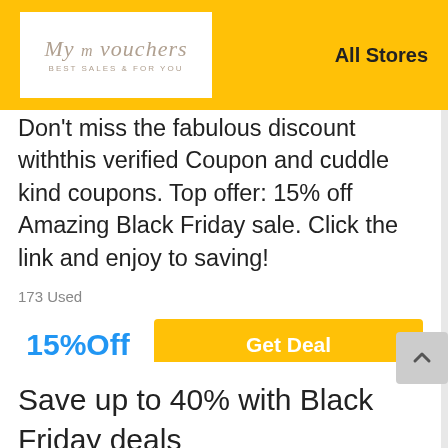My Vouchers — Best Sales & For You. All Stores
Don't miss the fabulous discount withthis verified Coupon and cuddle kind coupons. Top offer: 15% off Amazing Black Friday sale. Click the link and enjoy to saving!
173 Used
15%Off
Get Deal
Save up to 40% with Black Friday deals